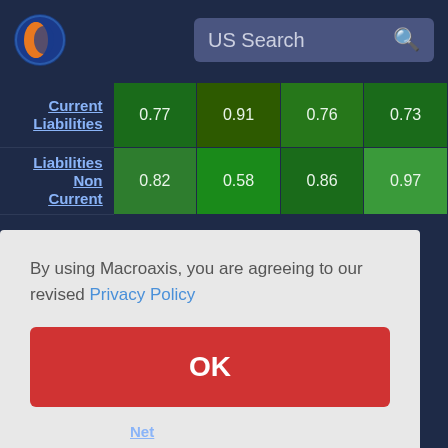US Search
|  | Col1 | Col2 | Col3 | Col4 |
| --- | --- | --- | --- | --- |
| Current Liabilities | 0.77 | 0.91 | 0.76 | 0.73 |
| Liabilities Non Current | 0.82 | 0.58 | 0.86 | 0.97 |
0.93
0.82
Net
By using Macroaxis, you are agreeing to our revised Privacy Policy
OK